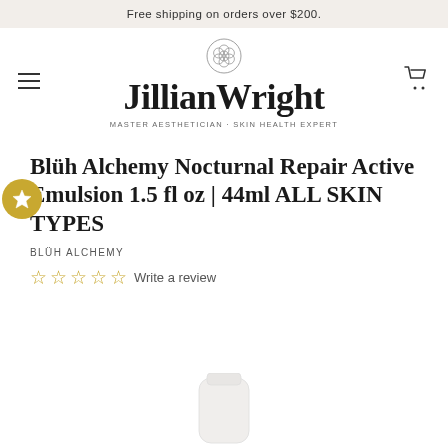Free shipping on orders over $200.
[Figure (logo): Jillian Wright Master Aesthetician Skin Health Expert logo with flower geometric symbol]
Blüh Alchemy Nocturnal Repair Active Emulsion 1.5 fl oz | 44ml ALL SKIN TYPES
BLÜH ALCHEMY
☆ ☆ ☆ ☆ ☆ Write a review
[Figure (photo): Partial view of white product bottle at bottom of page]